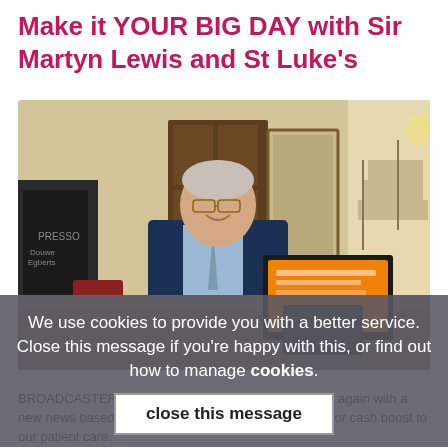Make it YOUR BIG DAY with Sir Martyn Lewis and St Luke's
[Figure (photo): Sir Martyn Lewis standing at a reception desk in a building interior, smiling, wearing a navy suit. A tablet/laptop with an orange screen is on the desk in front of him. The setting appears to be a hospice or grand building with wooden doors and a staircase in the background.]
We use cookies to provide you with a better service. Close this message if you're happy with this, or find out how to manage cookies.
close this message
BROADCASTER Sir Martyn Lewis is making headlines again with a new news based fundraising project that will give a major cash boost to our patient care.